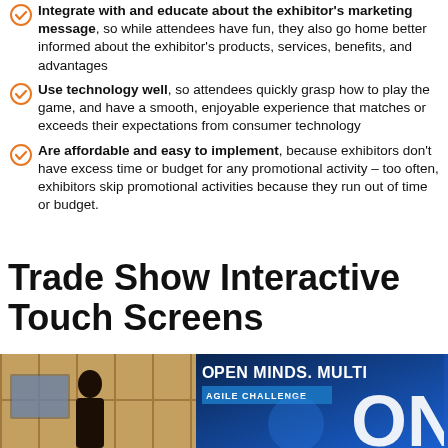Integrate with and educate about the exhibitor's marketing message, so while attendees have fun, they also go home better informed about the exhibitor's products, services, benefits, and advantages
Use technology well, so attendees quickly grasp how to play the game, and have a smooth, enjoyable experience that matches or exceeds their expectations from consumer technology
Are affordable and easy to implement, because exhibitors don't have excess time or budget for any promotional activity – too often, exhibitors skip promotional activities because they run out of time or budget.
Trade Show Interactive Touch Screens
[Figure (photo): Photo of a trade show booth with a person visible in a warm-toned room on the left, and a blue screen on the right showing 'OPEN MINDS. MULTI' text and 'AGILE CHALLENGE' banner with large 'ON' letters partially visible]